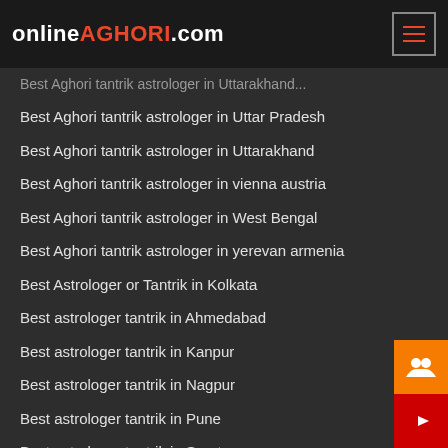onlineAGHORI.com
Best Aghori tantrik astrologer in Uttarakhand
Best Aghori tantrik astrologer in Uttar Pradesh
Best Aghori tantrik astrologer in Uttarakhand
Best Aghori tantrik astrologer in vienna austria
Best Aghori tantrik astrologer in West Bengal
Best Aghori tantrik astrologer in yerevan armenia
Best Astrologer or Tantrik in Kolkata
Best astrologer tantrik in Ahmedabad
Best astrologer tantrik in Kanpur
Best astrologer tantrik in Nagpur
Best astrologer tantrik in Pune
Best astrologer tantrik in Surat
Best astrologer tantrik in Visakhapatnam
Best Black Magic Aghori Tantrik Astrologer in Aali
Best Black Magic Aghori Tantrik Astrologer in Albany New York New York
Best Black Magic Aghori Tantrik Astrologer in Annapolis Baltimore